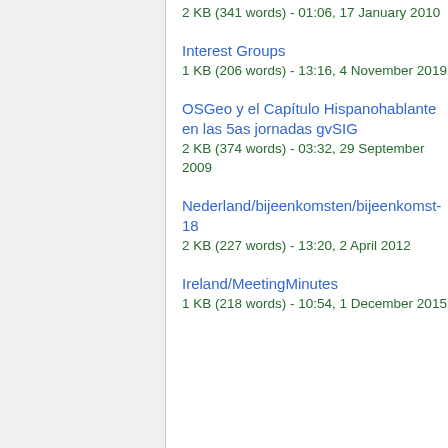2 KB (341 words) - 01:06, 17 January 2010
Interest Groups
1 KB (206 words) - 13:16, 4 November 2019
OSGeo y el Capítulo Hispanohablante en las 5as jornadas gvSIG
2 KB (374 words) - 03:32, 29 September 2009
Nederland/bijeenkomsten/bijeenkomst-18
2 KB (227 words) - 13:20, 2 April 2012
Ireland/MeetingMinutes
1 KB (218 words) - 10:54, 1 December 2015